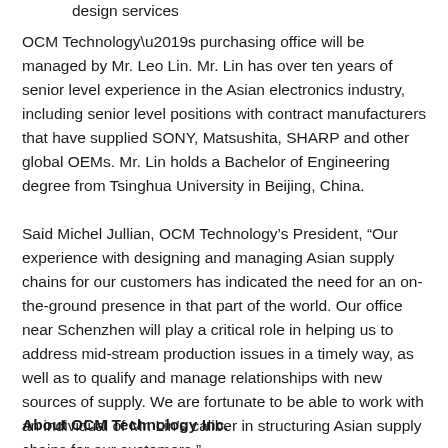design services
OCM Technology’s purchasing office will be managed by Mr. Leo Lin. Mr. Lin has over ten years of senior level experience in the Asian electronics industry, including senior level positions with contract manufacturers that have supplied SONY, Matsushita, SHARP and other global OEMs. Mr. Lin holds a Bachelor of Engineering degree from Tsinghua University in Beijing, China.
Said Michel Jullian, OCM Technology’s President, “Our experience with designing and managing Asian supply chains for our customers has indicated the need for an on-the-ground presence in that part of the world. Our office near Schenzhen will play a critical role in helping us to address mid-stream production issues in a timely way, as well as to qualify and manage relationships with new sources of supply. We are fortunate to be able to work with an individual of Mr. Lin’s caliber in structuring Asian supply chains for our customers.”
About OCM Technology Inc.